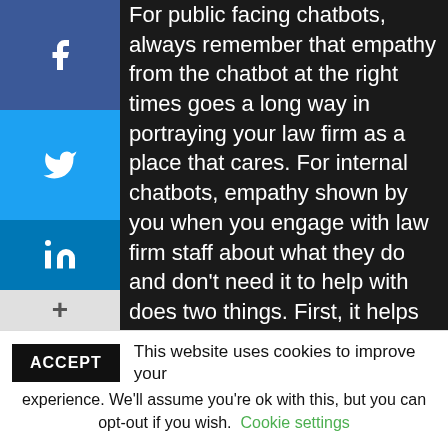For public facing chatbots, always remember that empathy from the chatbot at the right times goes a long way in portraying your law firm as a place that cares. For internal chatbots, empathy shown by you when you engage with law firm staff about what they do and don't need it to help with does two things. First, it helps you make a better decision in choosing the right law firm chatbot. Second, it helps staff known that you care about what they do and how it is done. It helps show that you want them to enjoy their work environment by making it a little
ACCEPT  This website uses cookies to improve your experience. We'll assume you're ok with this, but you can opt-out if you wish.  Cookie settings